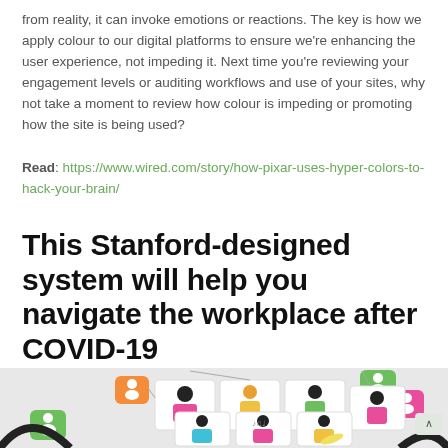from reality, it can invoke emotions or reactions. The key is how we apply colour to our digital platforms to ensure we're enhancing the user experience, not impeding it. Next time you're reviewing your engagement levels or auditing workflows and use of your sites, why not take a moment to review how colour is impeding or promoting how the site is being used?
Read: https://www.wired.com/story/how-pixar-uses-hyper-colors-to-hack-your-brain/
This Stanford-designed system will help you navigate the workplace after COVID-19
[Figure (illustration): Illustration showing multiple people in video call tiles connected by lines, with colourful speech bubbles in green, orange, and pink. Characters are shown in various poses representing remote work and collaboration.]